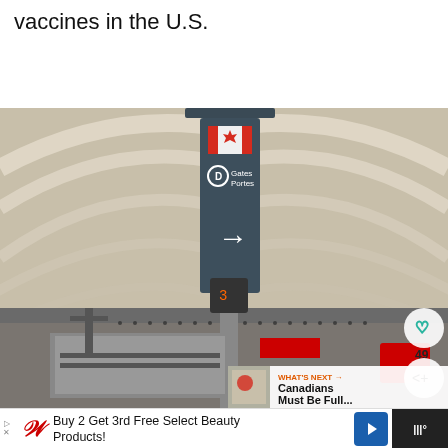vaccines in the U.S.
[Figure (photo): Interior of a Canadian airport terminal showing a hanging dark sign with the Canadian flag, 'D Gates Portes' text and a right arrow. The terminal has a curved ceiling structure. Social interaction buttons (heart, share) overlay the right side. A 'What's Next' panel shows a thumbnail with text 'Canadians Must Be Full...']
Buy 2 Get 3rd Free Select Beauty Products!